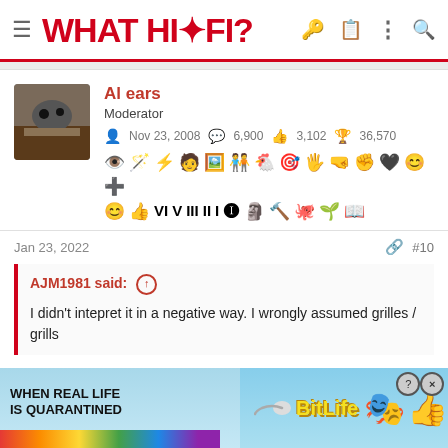WHAT HI·FI?
Al ears
Moderator
Nov 23, 2008  6,900  3,102  36,570
Jan 23, 2022  #10
AJM1981 said: ↑
I didn't intepret it in a negative way. I wrongly assumed grilles / grills